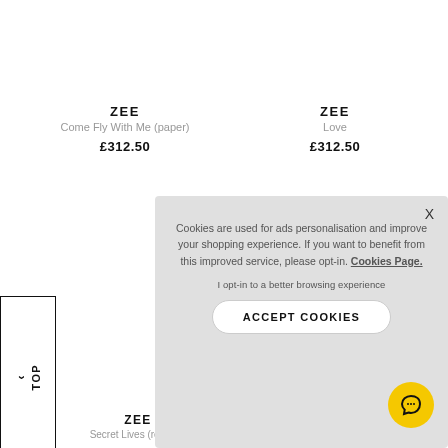ZEE
Come Fly With Me (paper)
£312.50
ZEE
Love
£312.50
^ TOP
Cookies are used for ads personalisation and improve your shopping experience. If you want to benefit from this improved service, please opt-in. Cookies Page.
I opt-in to a better browsing experience
ACCEPT COOKIES
ZEE
Secret Lives (resin on...
Secret Lives